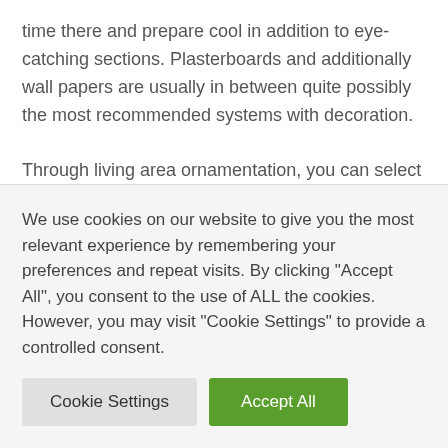time there and prepare cool in addition to eye-catching sections. Plasterboards and additionally wall papers are usually in between quite possibly the most recommended systems with decoration.

Through living area ornamentation, you can select decorated opportunities and / or windows. Window curtain range is definitely very important. When picking shades, along with harmony regarding the inner have to be utilised in consideration. On the other hand, these days, various appearances are already gathered with the use of different colorings and even structures relating to curtains. House furniture choice often is the most important portion around lounge
We use cookies on our website to give you the most relevant experience by remembering your preferences and repeat visits. By clicking "Accept All", you consent to the use of ALL the cookies. However, you may visit "Cookie Settings" to provide a controlled consent.